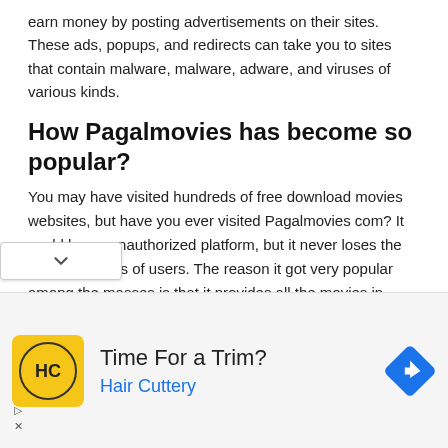earn money by posting advertisements on their sites. These ads, popups, and redirects can take you to sites that contain malware, malware, adware, and viruses of various kinds.
How Pagalmovies has become so popular?
You may have visited hundreds of free download movies websites, but have you ever visited Pagalmovies com? It could be an unauthorized platform, but it never loses the trust of millions of users. The reason it got very popular among the masses is that it provides all the movies in different formats ranging from 360p, 420p, 780p, and 1080p. According to the ry space you have left on your computer, you can
[Figure (other): Advertisement banner for Hair Cuttery showing logo with HC initials, text 'Time For a Trim?' and 'Hair Cuttery', and a blue navigation/directions icon on the right.]